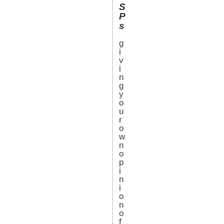SPs giving your own opinion of ther